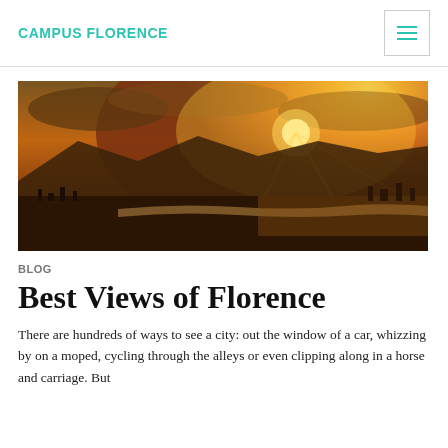CAMPUS FLORENCE
[Figure (photo): Aerial sunset panorama of Florence, Italy, showing the Arno river, city rooftops, and mountains in the background with a bright sun and dramatic orange sky.]
BLOG
Best Views of Florence
There are hundreds of ways to see a city: out the window of a car, whizzing by on a moped, cycling through the alleys or even clipping along in a horse and carriage. But